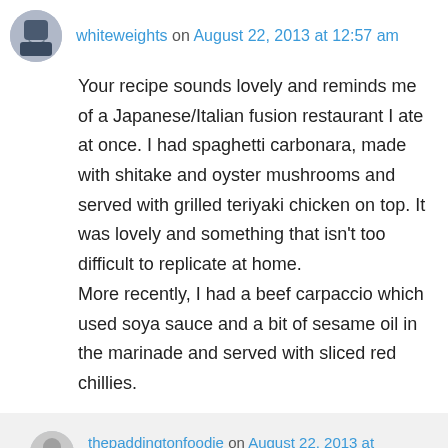whiteweights on August 22, 2013 at 12:57 am
Your recipe sounds lovely and reminds me of a Japanese/Italian fusion restaurant I ate at once. I had spaghetti carbonara, made with shitake and oyster mushrooms and served with grilled teriyaki chicken on top. It was lovely and something that isn't too difficult to replicate at home.
More recently, I had a beef carpaccio which used soya sauce and a bit of sesame oil in the marinade and served with sliced red chillies.
thepaddingtonfoodie on August 22, 2013 at 6:17 am
Sounds fabulous. Kyoto, the ancient capital